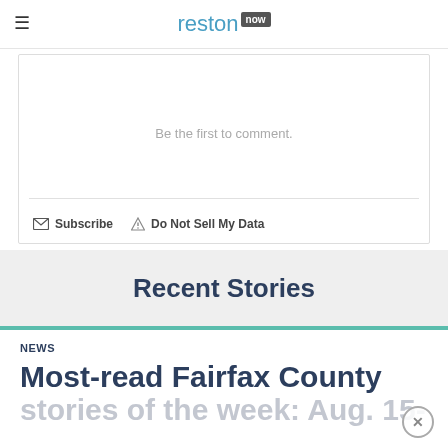reston now
Be the first to comment.
Subscribe   Do Not Sell My Data
Recent Stories
NEWS
Most-read Fairfax County stories of the week: Aug. 15-